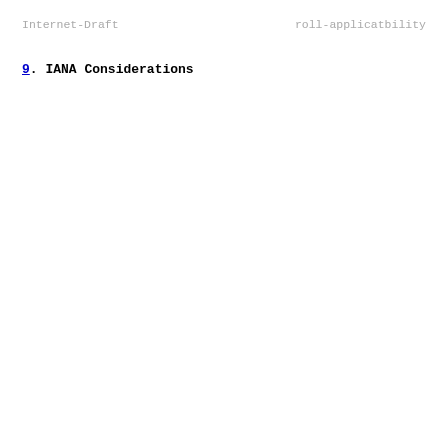Internet-Draft                    roll-applicatbility
9.  IANA Considerations